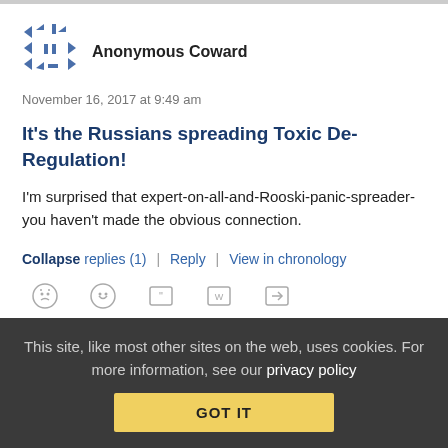Anonymous Coward
November 16, 2017 at 9:49 am
It's the Russians spreading Toxic De-Regulation!
I'm surprised that expert-on-all-and-Rooski-panic-spreader-you haven't made the obvious connection.
Collapse replies (1) | Reply | View in chronology
This site, like most other sites on the web, uses cookies. For more information, see our privacy policy GOT IT